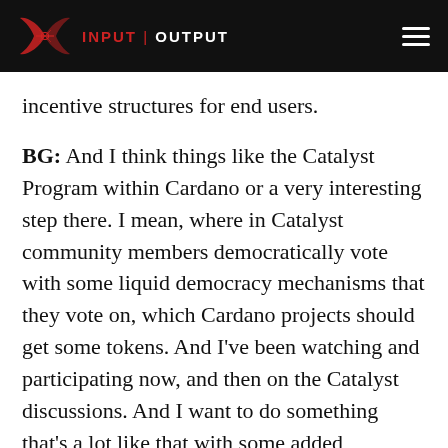INPUT | OUTPUT
incentive structures for end users.
BG: And I think things like the Catalyst Program within Cardano or a very interesting step there. I mean, where in Catalyst community members democratically vote with some liquid democracy mechanisms that they vote on, which Cardano projects should get some tokens. And I've been watching and participating now, and then on the Catalyst discussions. And I want to do something that's a lot like that with some added